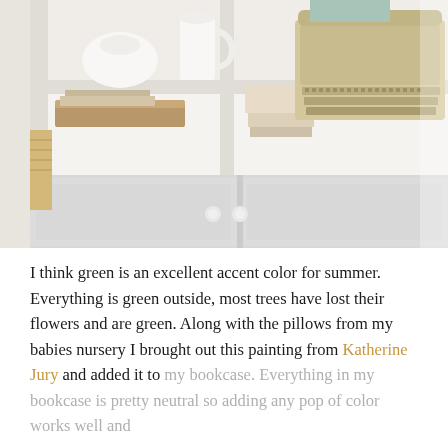[Figure (photo): Interior photo of a white bookcase/hutch with open shelves on top containing a white ceramic pitcher, a white bowl, stacked books, a wooden cutting board, and a vintage gold/beige typewriter on the right side. The bottom portion shows white cabinet doors with small round knobs.]
I think green is an excellent accent color for summer. Everything is green outside, most trees have lost their flowers and are green. Along with the pillows from my babies nursery I brought out this painting from Katherine Jury and added it to my bookcase. Everything in my bookcase is pretty neutral so adding any pop of color works well and